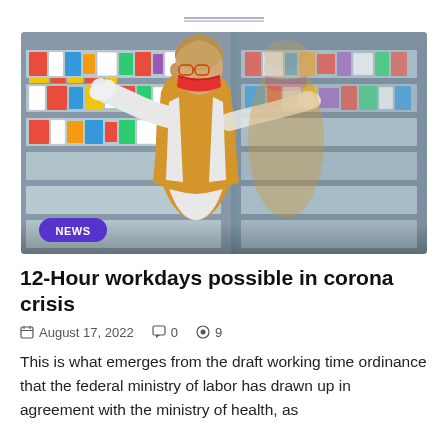[Figure (photo): A pharmacy worker wearing a yellow vest, white gloves, and a red face mask reaching for products on pharmacy shelves stocked with medicine and healthcare products. A NEWS badge is overlaid in the bottom-left corner of the image.]
12-Hour workdays possible in corona crisis
August 17, 2022   0   9
This is what emerges from the draft working time ordinance that the federal ministry of labor has drawn up in agreement with the ministry of health, as